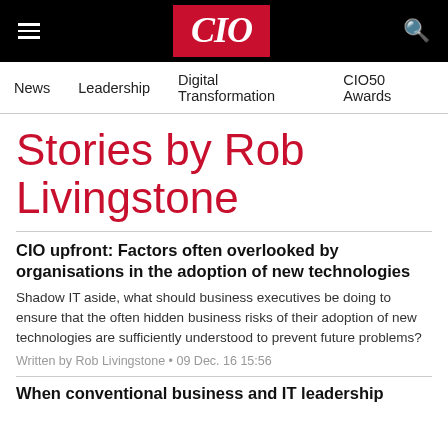CIO
News  Leadership  Digital Transformation  CIO50 Awards
Stories by Rob Livingstone
CIO upfront: Factors often overlooked by organisations in the adoption of new technologies
Shadow IT aside, what should business executives be doing to ensure that the often hidden business risks of their adoption of new technologies are sufficiently understood to prevent future problems?
Written by Rob Livingstone • 09 Dec. 16 15:56
When conventional business and IT leadership